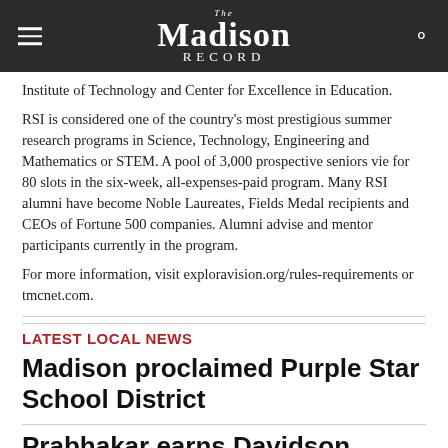The Madison Record
Institute of Technology and Center for Excellence in Education.
RSI is considered one of the country’s most prestigious summer research programs in Science, Technology, Engineering and Mathematics or STEM. A pool of 3,000 prospective seniors vie for 80 slots in the six-week, all-expenses-paid program. Many RSI alumni have become Noble Laureates, Fields Medal recipients and CEOs of Fortune 500 companies. Alumni advise and mentor participants currently in the program.
For more information, visit exploravision.org/rules-requirements or tmcnet.com.
LATEST LOCAL NEWS
Madison proclaimed Purple Star School District
Prabhakar earns Davidson Fellows Scholarship for $10,000